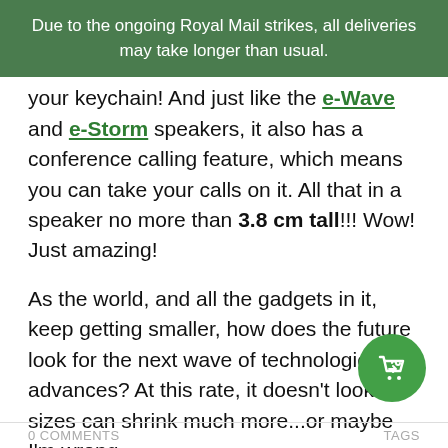Due to the ongoing Royal Mail strikes, all deliveries may take longer than usual.
your keychain! And just like the e-Wave and e-Storm speakers, it also has a conference calling feature, which means you can take your calls on it. All that in a speaker no more than 3.8 cm tall!!! Wow! Just amazing!
As the world, and all the gadgets in it, keep getting smaller, how does the future look for the next wave of technological advances? At this rate, it doesn't look like sizes can shrink much more...or maybe I'm wrong.
[Figure (illustration): Green circular cart/wishlist button icon in bottom right corner]
0 COMMENTS    TAGS